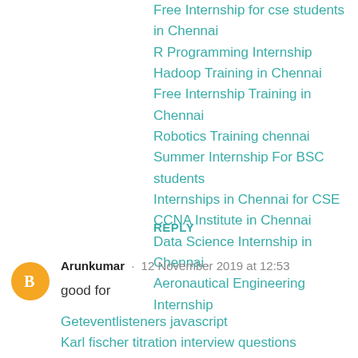Free Internship for cse students in Chennai
R Programming Internship
Hadoop Training in Chennai
Free Internship Training in Chennai
Robotics Training chennai
Summer Internship For BSC students
Internships in Chennai for CSE
CCNA Institute in Chennai
Data Science Internship in Chennai
Aeronautical Engineering Internship
REPLY
Arunkumar · 12 November 2019 at 12:53
good for
Geteventlisteners javascript
Karl fischer titration interview questions
How to hack tp link router
T system aptitude questions